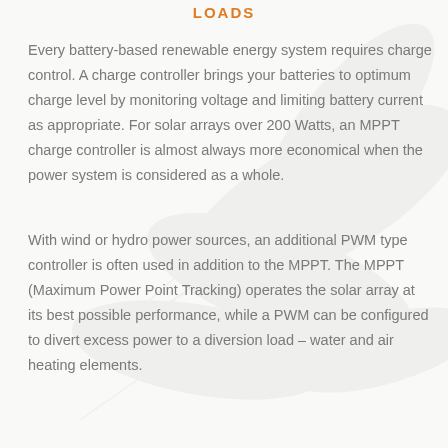LOADS
Every battery-based renewable energy system requires charge control. A charge controller brings your batteries to optimum charge level by monitoring voltage and limiting battery current as appropriate. For solar arrays over 200 Watts, an MPPT charge controller is almost always more economical when the power system is considered as a whole.
With wind or hydro power sources, an additional PWM type controller is often used in addition to the MPPT. The MPPT (Maximum Power Point Tracking) operates the solar array at its best possible performance, while a PWM can be configured to divert excess power to a diversion load – water and air heating elements.